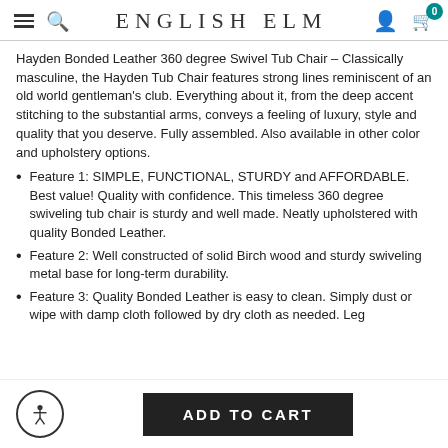ENGLISH ELM
Hayden Bonded Leather 360 degree Swivel Tub Chair – Classically masculine, the Hayden Tub Chair features strong lines reminiscent of an old world gentleman's club. Everything about it, from the deep accent stitching to the substantial arms, conveys a feeling of luxury, style and quality that you deserve. Fully assembled. Also available in other color and upholstery options.
Feature 1: SIMPLE, FUNCTIONAL, STURDY and AFFORDABLE. Best value! Quality with confidence. This timeless 360 degree swiveling tub chair is sturdy and well made. Neatly upholstered with quality Bonded Leather.
Feature 2: Well constructed of solid Birch wood and sturdy swiveling metal base for long-term durability.
Feature 3: Quality Bonded Leather is easy to clean. Simply dust or wipe with damp cloth followed by dry cloth as needed. Leg